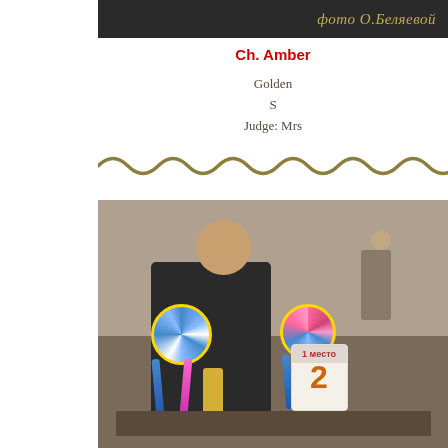[Figure (photo): Dark banner with Russian text 'фото О.Беляевой' (photo by O. Belyaeva) in gold italic script on black background]
Ch. Amber
Golden
S
Judge: Mrs
[Figure (illustration): Decorative wavy golden/olive colored squiggly line divider]
[Figure (photo): Dog show photograph showing a man in dark suit holding two award rosettes (blue/white and pink/blue ribbons) at a dog show event, with trophy and number 2 sign visible in the foreground, other attendees visible in background]